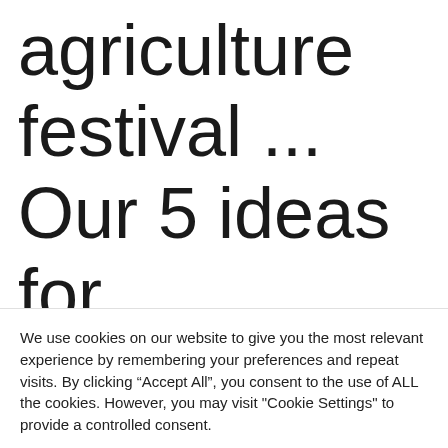agriculture festival ... Our 5 ideas for excursions, this weekend in the
We use cookies on our website to give you the most relevant experience by remembering your preferences and repeat visits. By clicking “Accept All”, you consent to the use of ALL the cookies. However, you may visit "Cookie Settings" to provide a controlled consent.